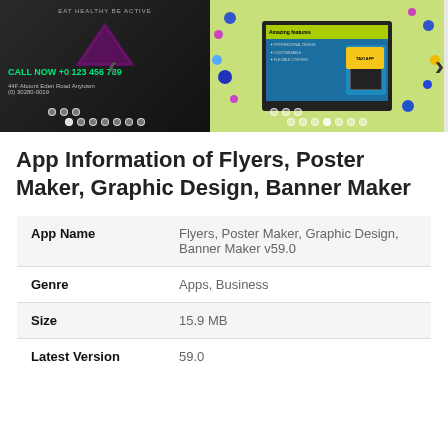[Figure (screenshot): App screenshot carousel showing two app preview images: left shows a dark business card design with green text 'CALL NOW +0 123 456 789', right shows a taxi app flyer design on lime green background with colorful dots]
App Information of Flyers, Poster Maker, Graphic Design, Banner Maker
| App Name | Flyers, Poster Maker, Graphic Design, Banner Maker v59.0 |
| Genre | Apps, Business |
| Size | 15.9 MB |
| Latest Version | 59.0 |